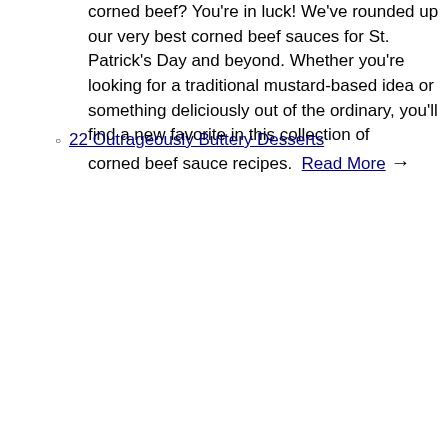corned beef? You're in luck! We've rounded up our very best corned beef sauces for St. Patrick's Day and beyond. Whether you're looking for a traditional mustard-based idea or something deliciously out of the ordinary, you'll find a new favorite in this collection of corned beef sauce recipes. Read More →
22 Outrageously Buttery Desserts